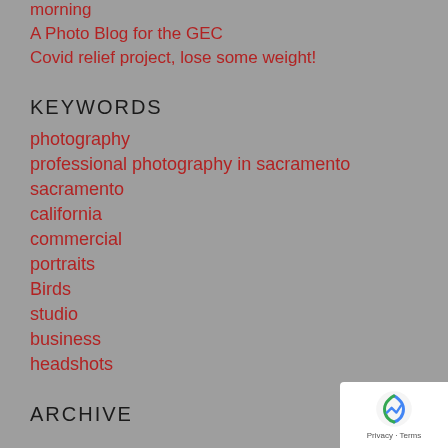morning
A Photo Blog for the GEC
Covid relief project, lose some weight!
KEYWORDS
photography
professional photography in sacramento
sacramento
california
commercial
portraits
Birds
studio
business
headshots
ARCHIVE